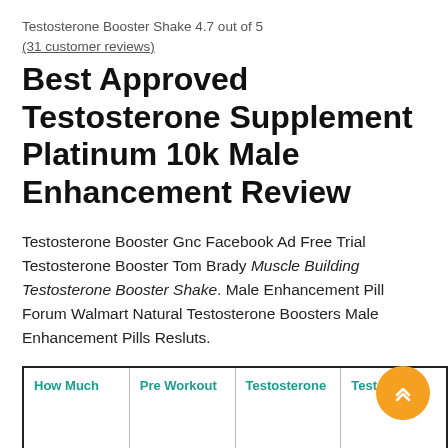Testosterone Booster Shake 4.7 out of 5
(31 customer reviews)
Best Approved Testosterone Supplement Platinum 10k Male Enhancement Review
Testosterone Booster Gnc Facebook Ad Free Trial Testosterone Booster Tom Brady Muscle Building Testosterone Booster Shake. Male Enhancement Pill Forum Walmart Natural Testosterone Boosters Male Enhancement Pills Resluts.
| How Much | Pre Workout | Testosterone | Testo |
| --- | --- | --- | --- |